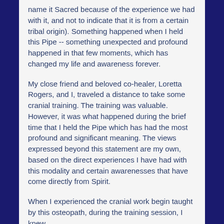name it Sacred because of the experience we had with it, and not to indicate that it is from a certain tribal origin). Something happened when I held this Pipe -- something unexpected and profound happened in that few moments, which has changed my life and awareness forever.
My close friend and beloved co-healer, Loretta Rogers, and I, traveled a distance to take some cranial training. The training was valuable. However, it was what happened during the brief time that I held the Pipe which has had the most profound and significant meaning. The views expressed beyond this statement are my own, based on the direct experiences I have had with this modality and certain awarenesses that have come directly from Spirit.
When I experienced the cranial work begin taught by this osteopath, during the training session, I knew